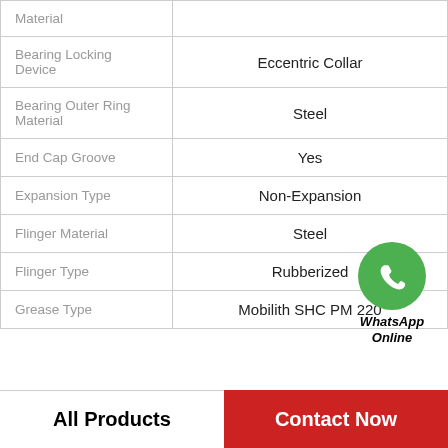| Property | Value |
| --- | --- |
| Material |  |
| Bearing Locking Device | Eccentric Collar |
| Bearing Outer Ring Material | Steel |
| End Cap Groove | Yes |
| Expansion Type | Non-Expansion |
| Flinger Material | Steel |
| Flinger Type | Rubberized |
| Grease Type | Mobilith SHC PM 220 |
[Figure (illustration): WhatsApp Online contact bubble with green phone icon and bold italic text 'WhatsApp Online']
All Products   Contact Now